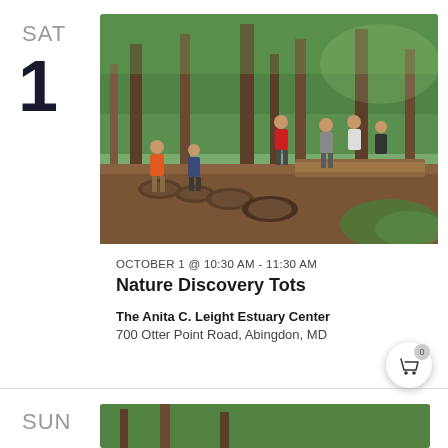SAT
1
[Figure (photo): Children playing on wooden stumps and platforms in a forested nature playground area with trees and green foliage]
OCTOBER 1 @ 10:30 AM - 11:30 AM
Nature Discovery Tots
The Anita C. Leight Estuary Center
700 Otter Point Road, Abingdon, MD
SUN